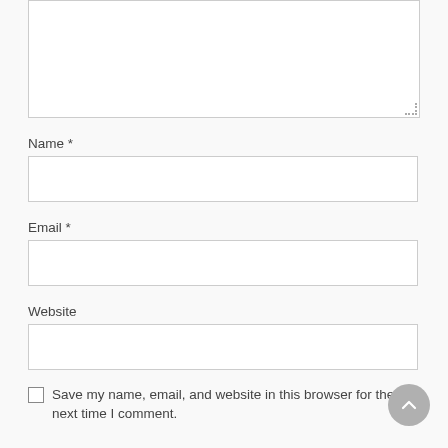[Figure (screenshot): A comment form textarea (top portion cut off), showing a large empty text input box with resize handle at bottom right.]
Name *
[Figure (screenshot): Name input field - empty text box]
Email *
[Figure (screenshot): Email input field - empty text box]
Website
[Figure (screenshot): Website input field - empty text box]
Save my name, email, and website in this browser for the next time I comment.